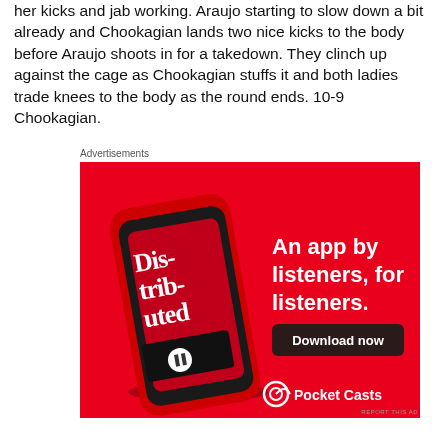her kicks and jab working. Araujo starting to slow down a bit already and Chookagian lands two nice kicks to the body before Araujo shoots in for a takedown. They clinch up against the cage as Chookagian stuffs it and both ladies trade knees to the body as the round ends. 10-9 Chookagian.
Advertisements
[Figure (photo): Advertisement for Pocket Casts app showing a red background with a smartphone displaying the 'Distributed' podcast. Text reads 'An app by listeners, for listeners.' with a 'Download now' button. Pocket Casts logo at bottom right.]